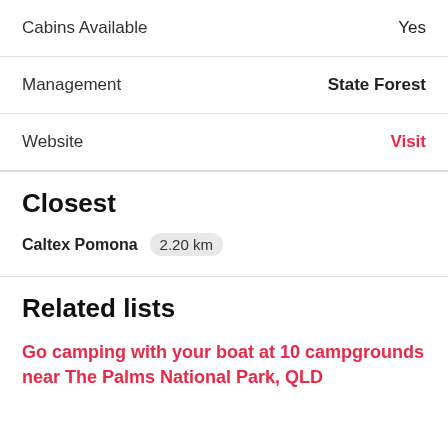| Cabins Available | Yes |
| Management | State Forest |
| Website | Visit |
Closest
Caltex Pomona  2.20 km
Related lists
Go camping with your boat at 10 campgrounds near The Palms National Park, QLD